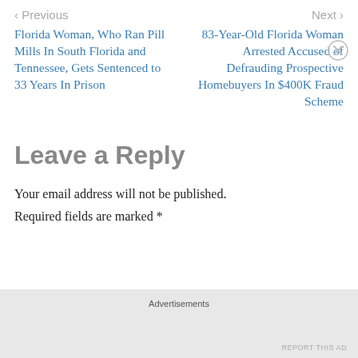< Previous
Next >
Florida Woman, Who Ran Pill Mills In South Florida and Tennessee, Gets Sentenced to 33 Years In Prison
83-Year-Old Florida Woman Arrested Accused of Defrauding Prospective Homebuyers In $400K Fraud Scheme
Leave a Reply
Your email address will not be published.
Required fields are marked *
Advertisements